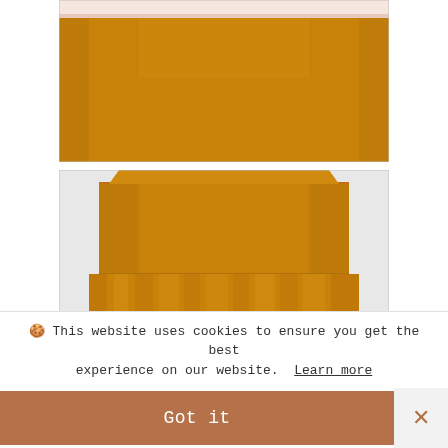[Figure (photo): Top view of a mustard/orange fabric skirt laid flat, showing the waistband with a light/white inner lining visible at the top. The fabric is a solid golden-yellow/mustard color against a white background.]
[Figure (photo): Closer view of the same mustard/orange skirt showing the high waist and the gathered/ruffled skirt portion below the waistband seam. The skirt is laid on a light grey/white background.]
🍪 This website uses cookies to ensure you get the best experience on our website. Learn more
Got it